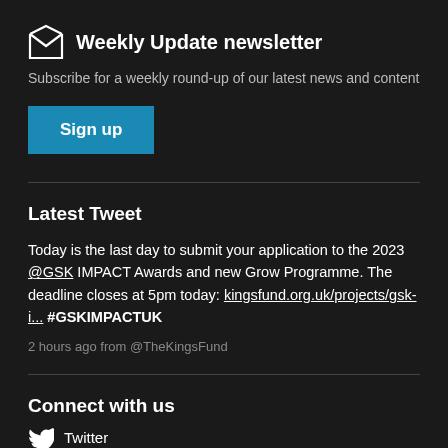Weekly Update newsletter
Subscribe for a weekly round-up of our latest news and content
Sign up
Latest Tweet
Today is the last day to submit your application to the 2023 @GSK IMPACT Awards and new Grow Programme. The deadline closes at 5pm today: kingsfund.org.uk/projects/gsk-i... #GSKIMPACTUK
2 hours ago from @TheKingsFund
Connect with us
Twitter